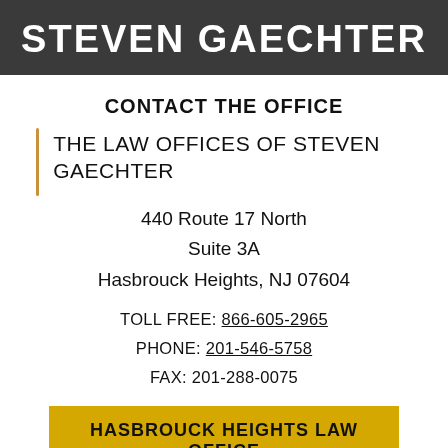STEVEN GAECHTER
CONTACT THE OFFICE
THE LAW OFFICES OF STEVEN GAECHTER
440 Route 17 North
Suite 3A
Hasbrouck Heights, NJ 07604
TOLL FREE: 866-605-2965
PHONE: 201-546-5758
FAX: 201-288-0075
HASBROUCK HEIGHTS LAW OFFICE